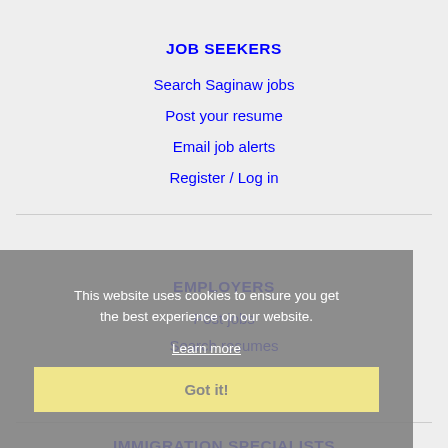JOB SEEKERS
Search Saginaw jobs
Post your resume
Email job alerts
Register / Log in
EMPLOYERS
Post jobs
Search resumes
Email resume alerts
Advertise
This website uses cookies to ensure you get the best experience on our website.
Learn more
Got it!
IMMIGRATION SPECIALISTS